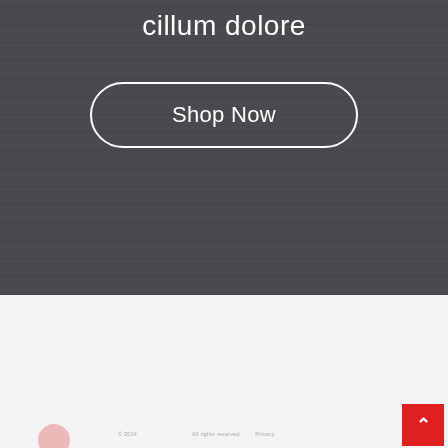cillum dolore
Shop Now
[Figure (illustration): Dark gray hero section background with subtle horizontal texture lines]
Footer bar with copyright/legal text and scroll-to-top red button with up chevron